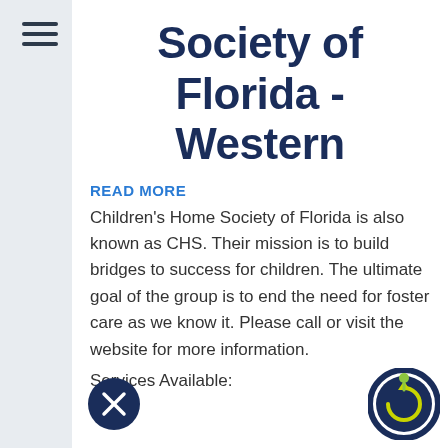[Figure (illustration): Hamburger menu icon with three horizontal lines in dark navy]
Society of Florida - Western
READ MORE
Children's Home Society of Florida is also known as CHS. Their mission is to build bridges to success for children. The ultimate goal of the group is to end the need for foster care as we know it. Please call or visit the website for more information.
Services Available:
[Figure (logo): Close/cancel button - dark circle with X]
[Figure (logo): Organization logo - dark navy circle with upward arrow and yellow/green figure on top]